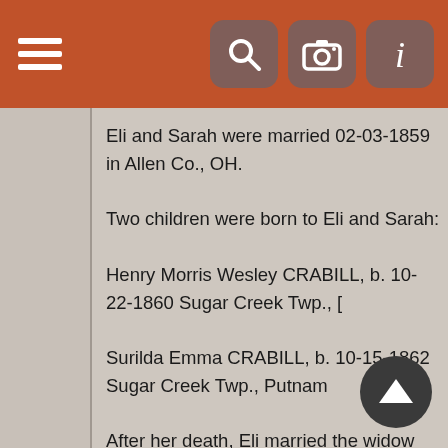Navigation bar with menu, search, camera, and info icons
Eli and Sarah were married 02-03-1859 in Allen Co., OH.

Two children were born to Eli and Sarah:

Henry Morris Wesley CRABILL, b. 10-22-1860 Sugar Creek Twp., [truncated]

Surilda Emma CRABILL, b. 10-15-1862 Sugar Creek Twp., Putnam [truncated]

After her death, Eli married the widow Eliabeth CONWAY. Eli died i[truncated]
50
From the 1870 US census
Name: George Morris
Age in 1870: 36
Birth Year: abt 1834
Birthplace: Ohio
Dwelling Number: 300
Home in 1870: Monroe, Allen, Ohio
Race: White
Gender: Male